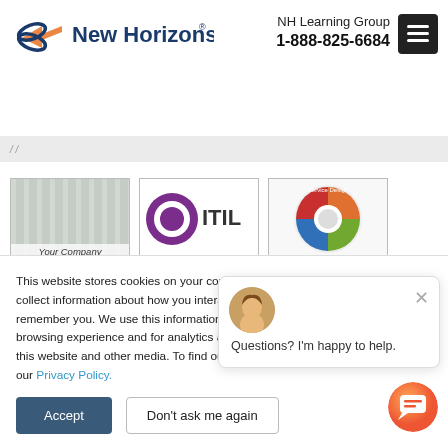[Figure (logo): New Horizons logo with bird/arrow icon in blue and orange, company name in dark blue]
NH Learning Group
1-888-825-6684
[Figure (screenshot): Gray bar with breadcrumb text partially visible]
[Figure (screenshot): Three course thumbnail images: Your Company, ITIL logo, Service Design circular badge]
This website stores cookies on your computer. These cookies are used to collect information about how you interact with our website and allow us to remember you. We use this information in order to improve and customize your browsing experience and for analytics and metrics about our visitors both on this website and other media. To find out more about the cookies we use, see our Privacy Policy.
[Figure (photo): Chat assistant avatar photo of a smiling woman]
Questions? I'm happy to help.
Accept
Don't ask me again